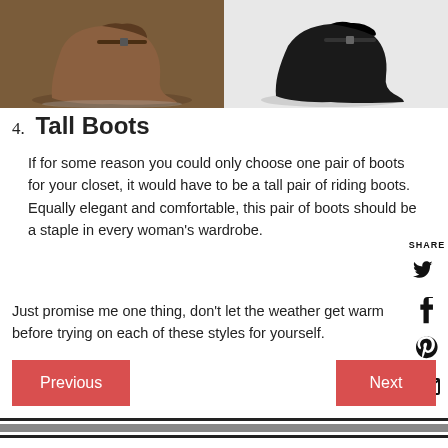[Figure (photo): Two shoe photos side by side: left shows a brown leather ankle boot with buckle on grey reflective surface; right shows a black leather ankle boot with buckle on white background]
4. Tall Boots
If for some reason you could only choose one pair of boots for your closet, it would have to be a tall pair of riding boots. Equally elegant and comfortable, this pair of boots should be a staple in every woman's wardrobe.
Just promise me one thing, don't let the weather get warm before trying on each of these styles for yourself.
Previous  Next